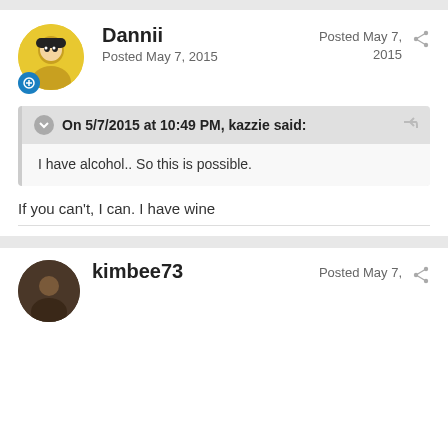Dannii
Posted May 7, 2015
Posted May 7, 2015
On 5/7/2015 at 10:49 PM, kazzie said:
I have alcohol.. So this is possible.
If you can't, I can. I have wine
kimbee73
Posted May 7,